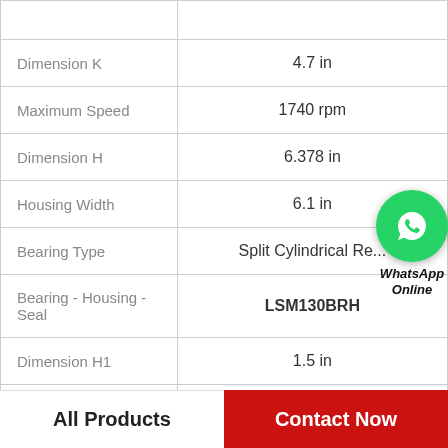| Property | Value |
| --- | --- |
| Dimension K | 4.7 in |
| Maximum Speed | 1740 rpm |
| Dimension H | 6.378 in |
| Housing Width | 6.1 in |
| Bearing Type | Split Cylindrical Re... |
| Bearing - Housing - Seal | LSM130BRH |
| Dimension H1 | 1.5 in |
| Cr - Dynamic Load | 81606 lbf |
[Figure (logo): WhatsApp contact button with green circle phone icon and 'WhatsApp Online' text]
All Products | Contact Now